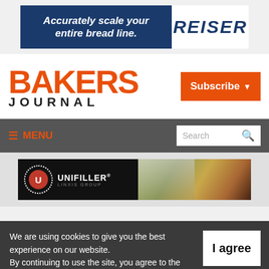[Figure (infographic): REISER advertisement banner: 'Accurately scale your entire bread line.' with REISER logo on white background]
BAKERS JOURNAL
Subscribe
≡ MENU
Search
[Figure (infographic): UNIFILLER (Linxis Group) advertisement banner showing logo on dark background with food imagery on right]
We are using cookies to give you the best experience on our website.
By continuing to use the site, you agree to the use of cookies.
To find out more, read our privacy policy.
I agree